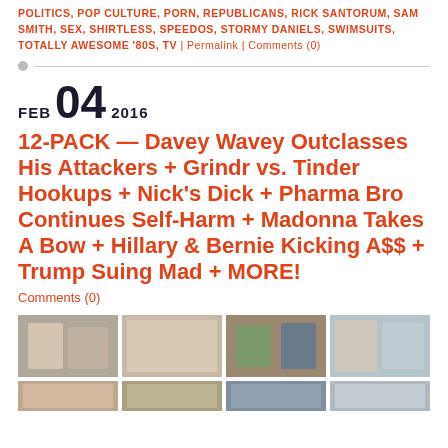POLITICS, POP CULTURE, PORN, REPUBLICANS, RICK SANTORUM, SAM SMITH, SEX, SHIRTLESS, SPEEDOS, STORMY DANIELS, SWIMSUITS, TOTALLY AWESOME '80S, TV | Permalink | Comments (0)
FEB 04 2016
12-PACK — Davey Wavey Outclasses His Attackers + Grindr vs. Tinder Hookups + Nick's Dick + Pharma Bro Continues Self-Harm + Madonna Takes A Bow + Hillary & Bernie Kicking A$$ + Trump Suing Mad + MORE!
Comments (0)
[Figure (photo): Grid of thumbnail photos, two rows, four columns each]
[Figure (photo): Second row of thumbnail photos, partially visible]